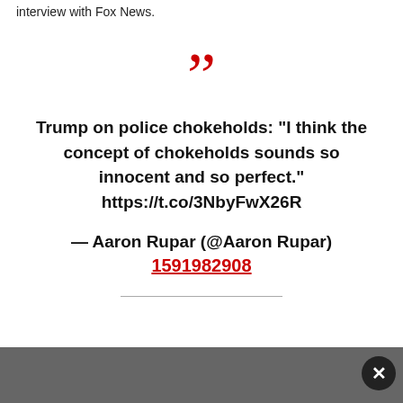interview with Fox News.
Trump on police chokeholds: "I think the concept of chokeholds sounds so innocent and so perfect." https://t.co/3NbyFwX26R

— Aaron Rupar (@Aaron Rupar) 1591982908